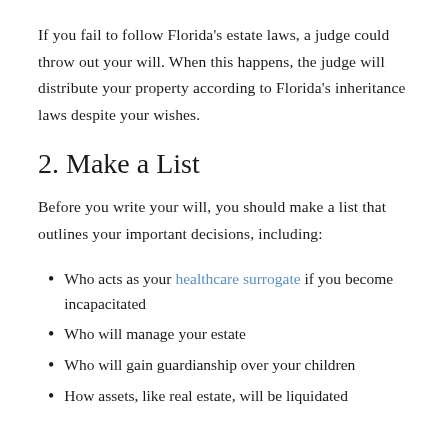If you fail to follow Florida's estate laws, a judge could throw out your will. When this happens, the judge will distribute your property according to Florida's inheritance laws despite your wishes.
2. Make a List
Before you write your will, you should make a list that outlines your important decisions, including:
Who acts as your healthcare surrogate if you become incapacitated
Who will manage your estate
Who will gain guardianship over your children
How assets, like real estate, will be liquidated